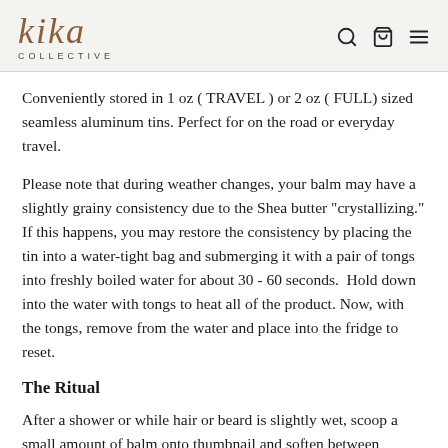kika COLLECTIVE
Conveniently stored in 1 oz ( TRAVEL ) or 2 oz ( FULL) sized seamless aluminum tins. Perfect for on the road or everyday travel.
Please note that during weather changes, your balm may have a slightly grainy consistency due to the Shea butter "crystallizing." If this happens, you may restore the consistency by placing the tin into a water-tight bag and submerging it with a pair of tongs into freshly boiled water for about 30 - 60 seconds.  Hold down into the water with tongs to heat all of the product. Now, with the tongs, remove from the water and place into the fridge to reset.
The Ritual
After a shower or while hair or beard is slightly wet, scoop a small amount of balm onto thumbnail and soften between fingers. Apply thoroughly to beard, mustache, or hair. Take your time: imagine coating every hair on every side.
To use as a skin cream, simply warm between fingers and apply